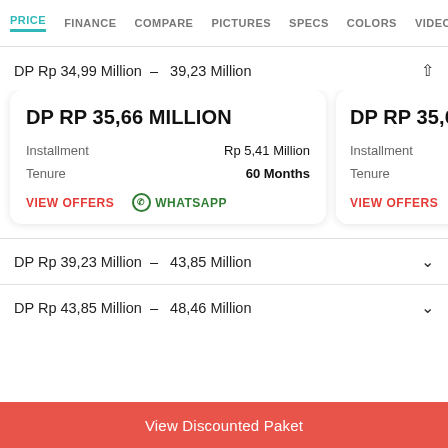PRICE  FINANCE  COMPARE  PICTURES  SPECS  COLORS  VIDEOS
DP Rp 34,99 Million – 39,23 Million
DP RP 35,66 MILLION
Installment: Rp 5,41 Million
Tenure: 60 Months
VIEW OFFERS  WHATSAPP
DP RP 35,66 MILLION
Installment: Rp ...
Tenure: ...
VIEW OFFERS  WHA...
DP Rp 39,23 Million – 43,85 Million
DP Rp 43,85 Million – 48,46 Million
View Discounted Paket